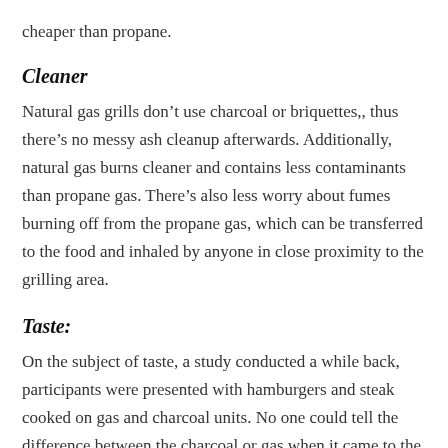cheaper than propane.
Cleaner
Natural gas grills don’t use charcoal or briquettes,, thus there’s no messy ash cleanup afterwards. Additionally, natural gas burns cleaner and contains less contaminants than propane gas. There’s also less worry about fumes burning off from the propane gas, which can be transferred to the food and inhaled by anyone in close proximity to the grilling area.
Taste:
On the subject of taste, a study conducted a while back, participants were presented with hamburgers and steak cooked on gas and charcoal units. No one could tell the difference between the charcoal or gas when it came to the hamburgers, but they could